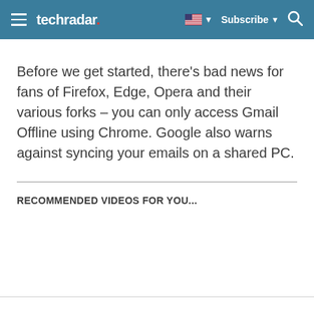techradar
Before we get started, there's bad news for fans of Firefox, Edge, Opera and their various forks – you can only access Gmail Offline using Chrome. Google also warns against syncing your emails on a shared PC.
RECOMMENDED VIDEOS FOR YOU...